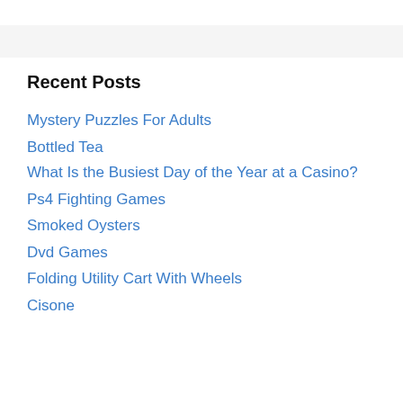Recent Posts
Mystery Puzzles For Adults
Bottled Tea
What Is the Busiest Day of the Year at a Casino?
Ps4 Fighting Games
Smoked Oysters
Dvd Games
Folding Utility Cart With Wheels
Cisone